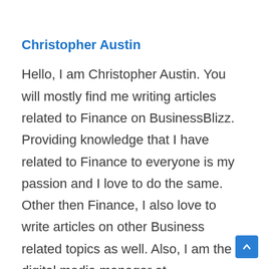Christopher Austin
Hello, I am Christopher Austin. You will mostly find me writing articles related to Finance on BusinessBlizz. Providing knowledge that I have related to Finance to everyone is my passion and I love to do the same. Other then Finance, I also love to write articles on other Business related topics as well. Also, I am the digital media manager at BusinessBlizz as well. You can reach me out at